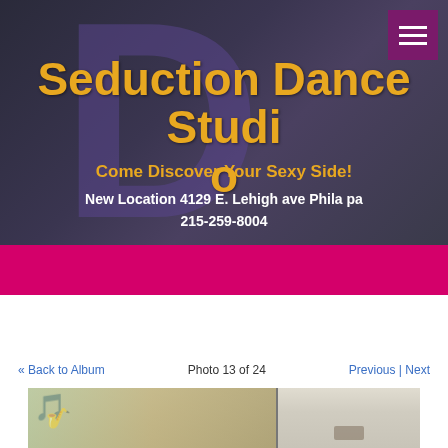[Figure (photo): Website header with dark purple/grey background featuring large decorative letter D, menu button in dark pink/magenta top right]
Seduction Dance Studio
Come Discover Your Sexy Side!
New Location 4129 E. Lehigh ave Phila pa
215-259-8004
« Back to Album   Photo 13 of 24   Previous | Next
[Figure (photo): Interior photo of dance studio showing wall mural with musical notes and saxophone, ceiling tiles visible. Split into two panels.]